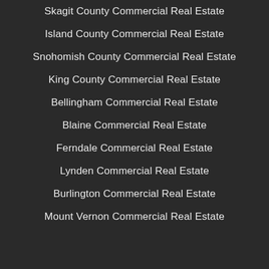Skagit County Commercial Real Estate
Island County Commercial Real Estate
Snohomish County Commercial Real Estate
King County Commercial Real Estate
Bellingham Commercial Real Estate
Blaine Commercial Real Estate
Ferndale Commercial Real Estate
Lynden Commercial Real Estate
Burlington Commercial Real Estate
Mount Vernon Commercial Real Estate